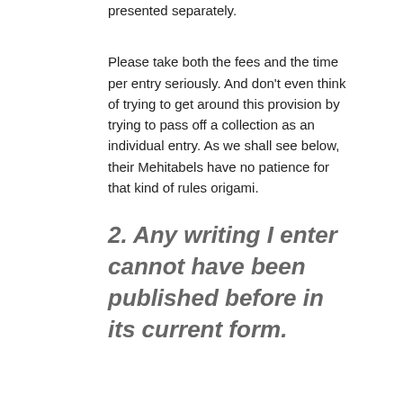presented separately.
Please take both the fees and the time per entry seriously. And don't even think of trying to get around this provision by trying to pass off a collection as an individual entry. As we shall see below, their Mehitabels have no patience for that kind of rules origami.
2. Any writing I enter cannot have been published before in its current form.